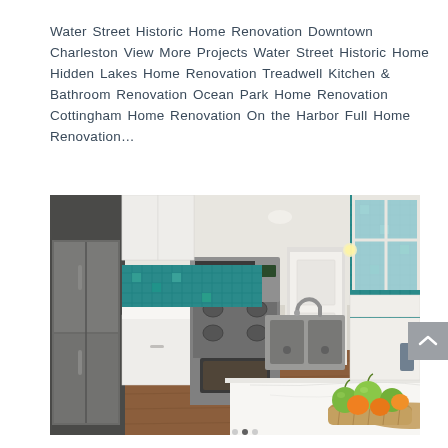Water Street Historic Home Renovation Downtown Charleston View More Projects Water Street Historic Home Hidden Lakes Home Renovation Treadwell Kitchen & Bathroom Renovation Ocean Park Home Renovation Cottingham Home Renovation On the Harbor Full Home Renovation…
[Figure (photo): Interior photo of a renovated kitchen featuring white cabinets, stainless steel appliances including a range and refrigerator, teal/turquoise mosaic tile backsplash, hardwood floors, white marble-look countertops with a double sink, and a basket of green apples and citrus fruit in the foreground.]